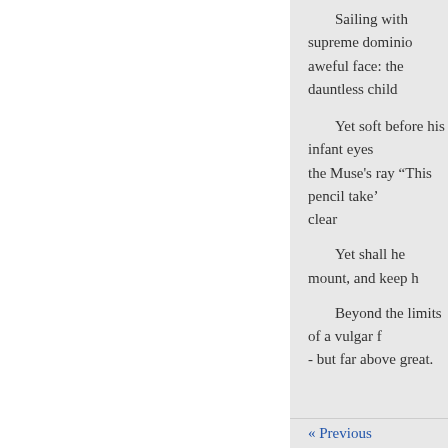Sailing with supreme dominio aweful face: the dauntless child
Yet soft before his infant eyes the Muse's ray “This pencil take’ clear
Yet shall he mount, and keep h
Beyond the limits of a vulgar f - but far above great.
William Collins, der Sohn eines 1721 geboren, erhielt seine Erzie wo er allein literarischen Beschä Heilung unter einem milderen Hi und starb 1756 an seinen Geburt
Erst lange nach seinem Tode f namentlich in seinen lyrischen Po Correctheit geben denselben eine die vom Morgenlande weiter Nic
« Previous